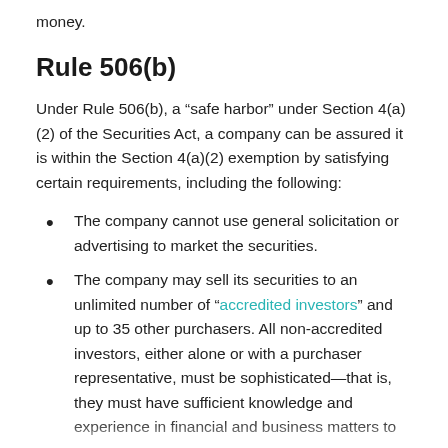money.
Rule 506(b)
Under Rule 506(b), a “safe harbor” under Section 4(a)(2) of the Securities Act, a company can be assured it is within the Section 4(a)(2) exemption by satisfying certain requirements, including the following:
The company cannot use general solicitation or advertising to market the securities.
The company may sell its securities to an unlimited number of “accredited investors” and up to 35 other purchasers. All non-accredited investors, either alone or with a purchaser representative, must be sophisticated—that is, they must have sufficient knowledge and experience in financial and business matters to